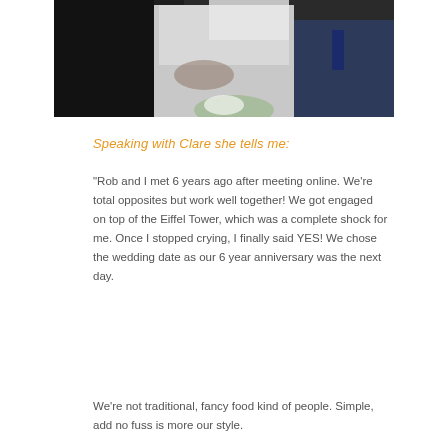[Figure (photo): Wedding photo showing a bride in a white lace dress and veil with other people around her, partially cropped at top of page]
Speaking with Clare she tells me:
"Rob and I met 6 years ago after meeting online. We're total opposites but work well together! We got engaged on top of the Eiffel Tower, which was a complete shock for me. Once I stopped crying, I finally said YES! We chose the wedding date as our 6 year anniversary was the next day.
We're not traditional, fancy food kind of people. Simple, add no fuss is more our style.